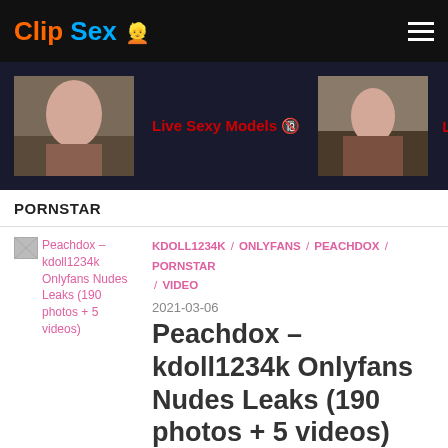Clip Sex [logo] [hamburger menu]
[Figure (photo): Banner area with two photos of women and 'Live Sexy Models' text in red]
PORNSTAR
[Figure (photo): Thumbnail image placeholder for Peachdox article]
KDOLL1234K / ONLYFANS / PEACHDOX / PORNSTAR / VIDEO
2021-03-06
Peachdox – kdoll1234k Onlyfans Nudes Leaks (190 photos + 5 videos)
[Figure (photo): Thumbnail image placeholder for second article (partially visible at bottom)]
ONLYFANS / PORNSTAR / PUMA_SWEDE / ...